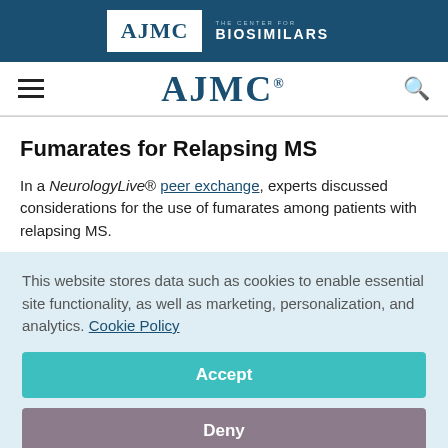AJMC | THE CENTER FOR BIOSIMILARS
[Figure (logo): AJMC logo with hamburger menu and search icon navigation bar]
Fumarates for Relapsing MS
In a NeurologyLive® peer exchange, experts discussed considerations for the use of fumarates among patients with relapsing MS.
This website stores data such as cookies to enable essential site functionality, as well as marketing, personalization, and analytics. Cookie Policy
Accept
Deny